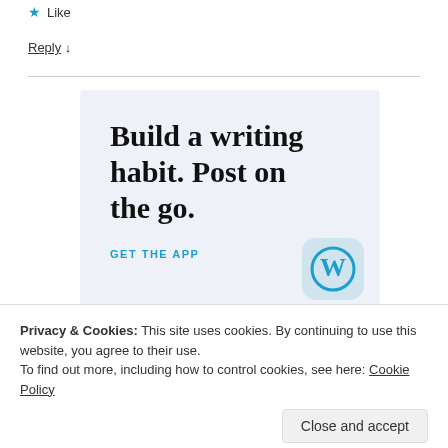★ Like
Reply ↓
[Figure (infographic): WordPress app advertisement with light blue background. Large serif text reads 'Build a writing habit. Post on the go.' Below in teal uppercase: 'GET THE APP'. A rounded-square WordPress logo icon appears bottom right.]
Privacy & Cookies: This site uses cookies. By continuing to use this website, you agree to their use. To find out more, including how to control cookies, see here: Cookie Policy
Close and accept
June 12, 2013 at 3:20 pm